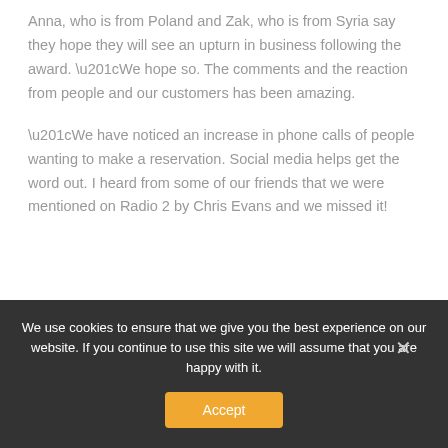Anna, who is from Poland and Zak, who is from Syria say they hope they will see an upturn in business following the award. “We hope so. The comments and the reaction from people and our customers has been amazing.
“We have noticed an increase in phone calls of people wanting to make a reservation. Social media helps get the word out. I heard from some of our friends that we were mentioned on Radio 2 by Chris Evans and we missed it!
We use cookies to ensure that we give you the best experience on our website. If you continue to use this site we will assume that you are happy with it.